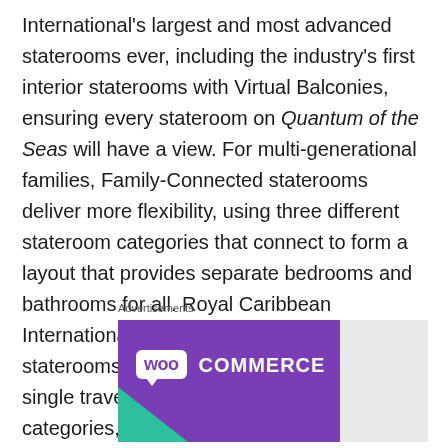International's largest and most advanced staterooms ever, including the industry's first interior staterooms with Virtual Balconies, ensuring every stateroom on Quantum of the Seas will have a view. For multi-generational families, Family-Connected staterooms deliver more flexibility, using three different stateroom categories that connect to form a layout that provides separate bedrooms and bathrooms for all. Royal Caribbean International will introduce new Studio staterooms – some featuring balconies – for single travellers, three new Junior Suite categories, and larger Loft Suites.
Advertisements
[Figure (logo): WooCommerce advertisement banner with purple background and white logo text, with teal triangle accent in lower left corner]